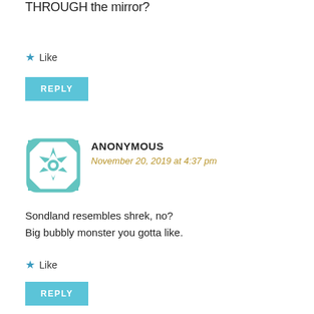THROUGH the mirror?
★ Like
REPLY
[Figure (illustration): Teal geometric mandala/snowflake avatar icon]
ANONYMOUS
November 20, 2019 at 4:37 pm
Sondland resembles shrek, no?
Big bubbly monster you gotta like.
★ Like
REPLY